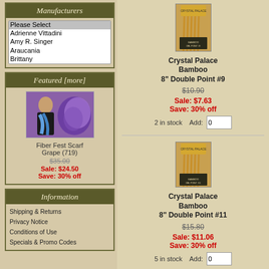Manufacturers
Please Select
Adrienne Vittadini
Amy R. Singer
Araucania
Brittany
Featured [more]
[Figure (photo): Woman wearing blue/purple fiber fest scarf next to a skein of purple variegated yarn]
Fiber Fest Scarf
Grape (719)
$35.00
Sale: $24.50
Save: 30% off
Information
Shipping & Returns
Privacy Notice
Conditions of Use
Specials & Promo Codes
[Figure (photo): Crystal Palace Bamboo 8 inch Double Point #9 knitting needles package]
Crystal Palace Bamboo
8" Double Point #9
$10.90
Sale: $7.63
Save: 30% off
2 in stock   Add: 0
[Figure (photo): Crystal Palace Bamboo 8 inch Double Point #11 knitting needles package]
Crystal Palace Bamboo
8" Double Point #11
$15.80
Sale: $11.06
Save: 30% off
5 in stock   Add: 0